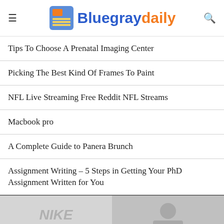Bluegraydaily
Tips To Choose A Prenatal Imaging Center
Picking The Best Kind Of Frames To Paint
NFL Live Streaming Free Reddit NFL Streams
Macbook pro
A Complete Guide to Panera Brunch
Assignment Writing – 5 Steps in Getting Your PhD Assignment Written for You
[Figure (photo): Two side-by-side images at the bottom: left image shows a Nike logo/item, right image shows a person or item partially visible]